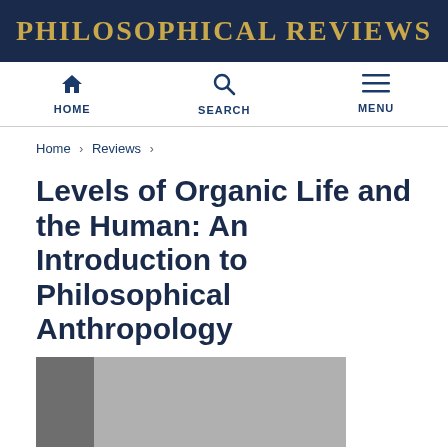PHILOSOPHICAL REVIEWS
[Figure (screenshot): Navigation bar with HOME, SEARCH, and MENU icons]
Home › Reviews ›
Levels of Organic Life and the Human: An Introduction to Philosophical Anthropology
[Figure (photo): Book cover image — partially shown, gray tones]